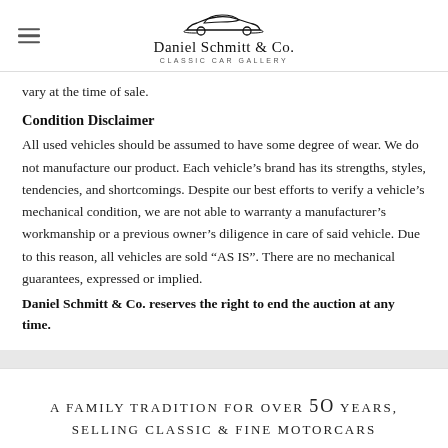Daniel Schmitt & Co. Classic Car Gallery
vary at the time of sale.
Condition Disclaimer
All used vehicles should be assumed to have some degree of wear. We do not manufacture our product. Each vehicle's brand has its strengths, styles, tendencies, and shortcomings. Despite our best efforts to verify a vehicle's mechanical condition, we are not able to warranty a manufacturer's workmanship or a previous owner's diligence in care of said vehicle. Due to this reason, all vehicles are sold “AS IS”. There are no mechanical guarantees, expressed or implied.
Daniel Schmitt & Co. reserves the right to end the auction at any time.
A FAMILY TRADITION FOR OVER 50 YEARS, SELLING CLASSIC & FINE MOTORCARS